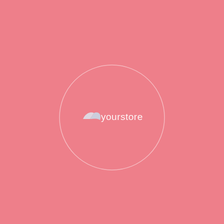[Figure (logo): Pink/salmon background with a centered circle outline containing a small bird/arrow logo icon and the text 'yourstore' in white. The circle is a light semi-transparent stroke on the salmon background.]